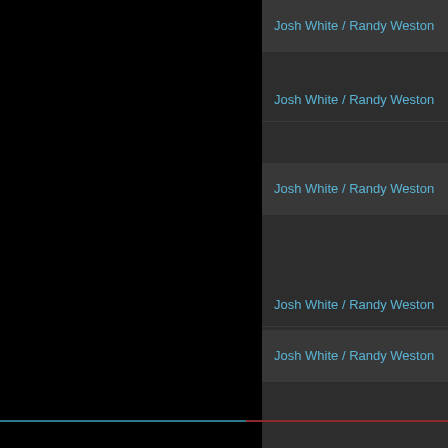Josh White / Randy Weston Quarte...
Josh White / Randy Weston Quarte...
Josh White / Randy Weston Quarte...
Josh White / Randy Weston Quarte...
Josh White / Randy Weston Quarte...
Josh White / Randy Weston Quarte...
1 2 3 4 5 6 7 8 9